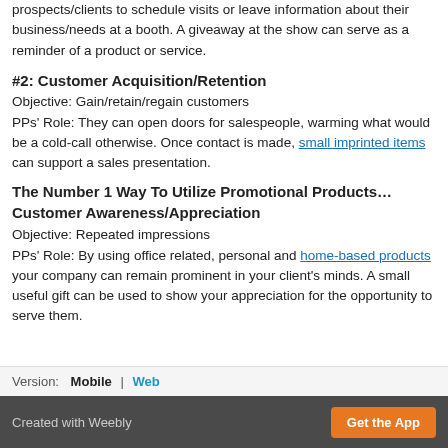prospects/clients to schedule visits or leave information about their business/needs at a booth. A giveaway at the show can serve as a reminder of a product or service.
#2: Customer Acquisition/Retention
Objective: Gain/retain/regain customers
PPs' Role: They can open doors for salespeople, warming what would be a cold-call otherwise. Once contact is made, small imprinted items can support a sales presentation.
The Number 1 Way To Utilize Promotional Products...Customer Awareness/Appreciation
Objective: Repeated impressions
PPs' Role: By using office related, personal and home-based products your company can remain prominent in your client's minds. A small useful gift can be used to show your appreciation for the opportunity to serve them.
Version: Mobile | Web
Created with Weebly  Get the App